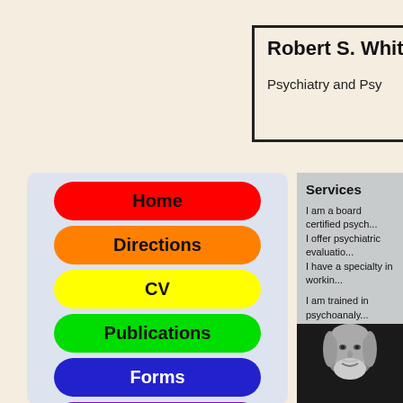Robert S. Whit...
Psychiatry and Psy...
Home
Directions
CV
Publications
Forms
Photography
Services
I am a board certified psych... I offer psychiatric evaluatio... I have a specialty in workin...
I am trained in psychoanaly... psychoanalysis, three to fo...
[Figure (photo): Black and white portrait photo of a bearded middle-aged man]